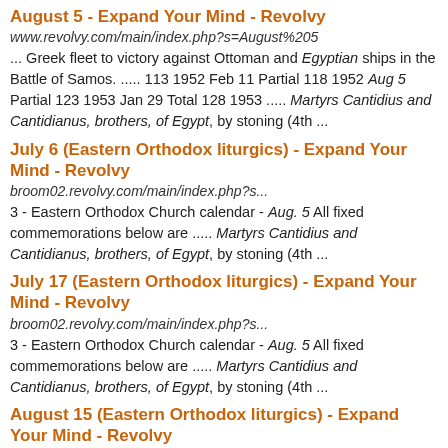August 5 - Expand Your Mind - Revolvy
www.revolvy.com/main/index.php?s=August%205
... Greek fleet to victory against Ottoman and Egyptian ships in the Battle of Samos. ..... 113 1952 Feb 11 Partial 118 1952 Aug 5 Partial 123 1953 Jan 29 Total 128 1953 ..... Martyrs Cantidius and Cantidianus, brothers, of Egypt, by stoning (4th ...
July 6 (Eastern Orthodox liturgics) - Expand Your Mind - Revolvy
broom02.revolvy.com/main/index.php?s...
3 - Eastern Orthodox Church calendar - Aug. 5 All fixed commemorations below are ..... Martyrs Cantidius and Cantidianus, brothers, of Egypt, by stoning (4th ...
July 17 (Eastern Orthodox liturgics) - Expand Your Mind - Revolvy
broom02.revolvy.com/main/index.php?s...
3 - Eastern Orthodox Church calendar - Aug. 5 All fixed commemorations below are ..... Martyrs Cantidius and Cantidianus, brothers, of Egypt, by stoning (4th ...
August 15 (Eastern Orthodox liturgics) - Expand Your Mind - Revolvy